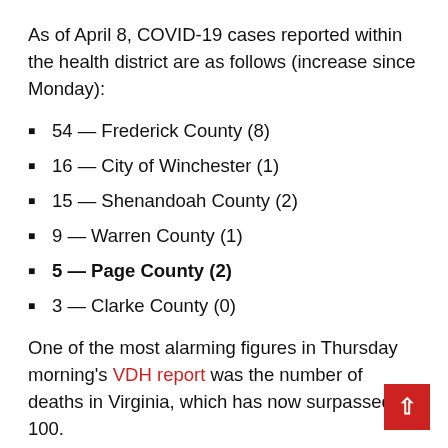As of April 8, COVID-19 cases reported within the health district are as follows (increase since Monday):
54 — Frederick County (8)
16 — City of Winchester (1)
15 — Shenandoah County (2)
9 — Warren County (1)
5 — Page County (2)
3 — Clarke County (0)
One of the most alarming figures in Thursday morning's VDH report was the number of deaths in Virginia, which has now surpassed 100.
The state death toll of 109 represents a 73-perce increase since Monday, when the figure stood at 63. A regional breakdown of these deaths shows: